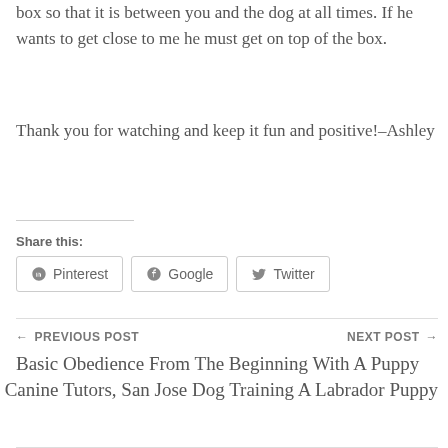box so that it is between you and the dog at all times. If he wants to get close to me he must get on top of the box.
Thank you for watching and keep it fun and positive!–Ashley
Share this:
Pinterest  Google  Twitter
← PREVIOUS POST
Basic Obedience From The Beginning With A Puppy
NEXT POST →
Canine Tutors, San Jose Dog Training A Labrador Puppy